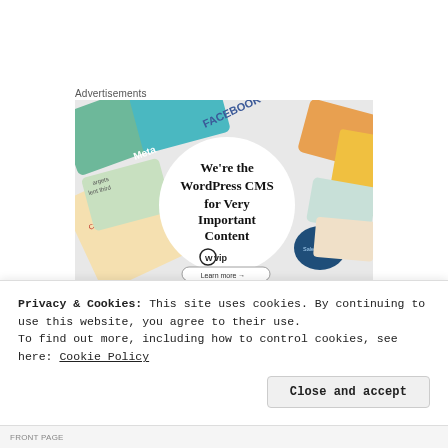Advertisements
[Figure (infographic): WordPress VIP advertisement showing 'We're the WordPress CMS for Very Important Content' with WPvip logo and 'Learn more →' button, surrounded by colorful branded cards (Meta, Facebook, Capgemini, Salesforce, etc.)]
Privacy & Cookies: This site uses cookies. By continuing to use this website, you agree to their use.
To find out more, including how to control cookies, see here: Cookie Policy
Close and accept